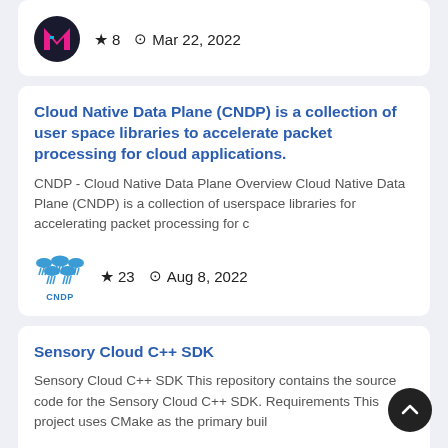[Figure (logo): Colorful M-shaped logo icon (dark background, pink/blue colors)]
★ 8   🕐 Mar 22, 2022
Cloud Native Data Plane (CNDP) is a collection of user space libraries to accelerate packet processing for cloud applications.
CNDP - Cloud Native Data Plane Overview Cloud Native Data Plane (CNDP) is a collection of userspace libraries for accelerating packet processing for c
[Figure (logo): CNDP cloud logo with blue rain cloud icons arranged in a grid, labeled CNDP]
★ 23   🕐 Aug 8, 2022
Sensory Cloud C++ SDK
Sensory Cloud C++ SDK This repository contains the source code for the Sensory Cloud C++ SDK. Requirements This project uses CMake as the primary buil
[Figure (logo): Stacked layers icon in purple/blue gradient]
★ 2   🕐 Jan 10, 2022